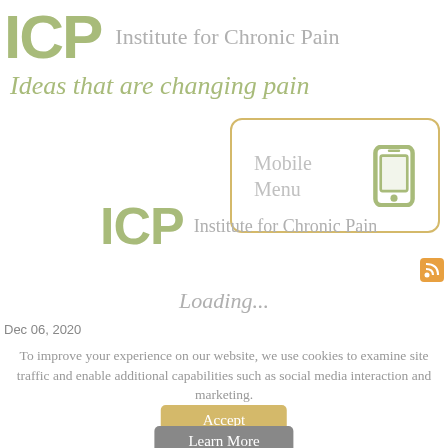[Figure (logo): ICP (Institute for Chronic Pain) logo — large green bold ICP letters followed by grey 'Institute for Chronic Pain' text]
Ideas that are changing pain
[Figure (screenshot): Mobile Menu button with phone icon inside a rounded yellow-bordered box]
[Figure (logo): Second ICP logo — medium green ICP letters followed by grey 'Institute for Chronic Pain' text]
[Figure (other): RSS feed orange icon]
Loading...
Dec 06, 2020
To improve your experience on our website, we use cookies to examine site traffic and enable additional capabilities such as social media interaction and marketing.
Accept
Learn More